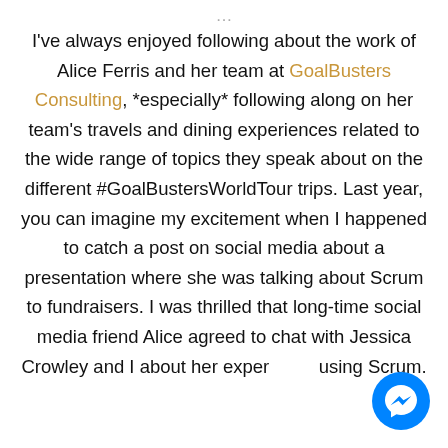…[continuation of text from above]…
I've always enjoyed following about the work of Alice Ferris and her team at GoalBusters Consulting, *especially* following along on her team's travels and dining experiences related to the wide range of topics they speak about on the different #GoalBustersWorldTour trips. Last year, you can imagine my excitement when I happened to catch a post on social media about a presentation where she was talking about Scrum to fundraisers. I was thrilled that long-time social media friend Alice agreed to chat with Jessica Crowley and I about her experience using Scrum.
[Figure (logo): Facebook Messenger button icon — blue circle with white lightning bolt chat icon]